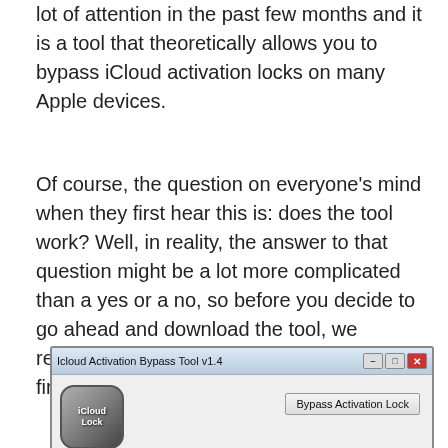lot of attention in the past few months and it is a tool that theoretically allows you to bypass iCloud activation locks on many Apple devices.
Of course, the question on everyone's mind when they first hear this is: does the tool work? Well, in reality, the answer to that question might be a lot more complicated than a yes or a no, so before you decide to go ahead and download the tool, we recommend that you read this full article to find an answer by yourself.
[Figure (screenshot): Screenshot of the iCloud Activation Bypass Tool v1.4 application window showing a Windows-style title bar, a metallic iCloud Lock icon, and a 'Bypass Activation Lock' button.]